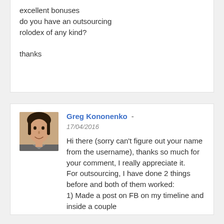excellent bonuses
do you have an outsourcing rolodex of any kind?

thanks
Greg Kononenko - 17/04/2016
Hi there (sorry can't figure out your name from the username), thanks so much for your comment, I really appreciate it.
For outsourcing, I have done 2 things before and both of them worked:
1) Made a post on FB on my timeline and inside a couple